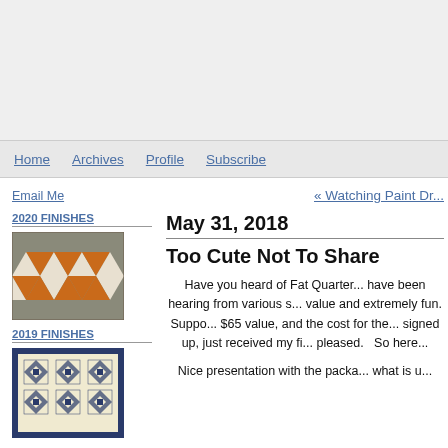Home  Archives  Profile  Subscribe
Email Me
« Watching Paint Dr...
2020 FINISHES
[Figure (photo): Quilt with orange and white geometric star/arrow pattern on gray background]
2019 FINISHES
[Figure (photo): Quilt with blue and cream geometric diamond/square pattern on navy border]
May 31, 2018
Too Cute Not To Share
Have you heard of Fat Quarter... have been hearing from various s... value and extremely fun. Suppo... $65 value, and the cost for the... signed up, just received my fi... pleased.   So here...
Nice presentation with the packa... what is u...